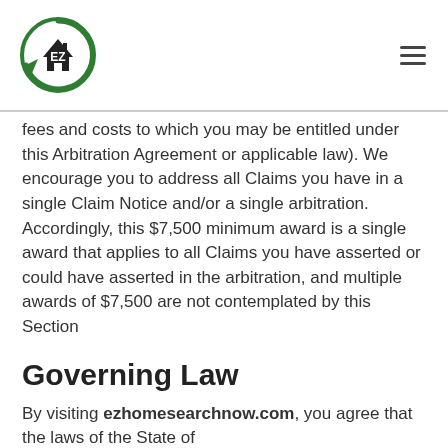EZ Home Search Now logo and navigation
fees and costs to which you may be entitled under this Arbitration Agreement or applicable law). We encourage you to address all Claims you have in a single Claim Notice and/or a single arbitration. Accordingly, this $7,500 minimum award is a single award that applies to all Claims you have asserted or could have asserted in the arbitration, and multiple awards of $7,500 are not contemplated by this Section
Governing Law
By visiting ezhomesearchnow.com, you agree that the laws of the State of